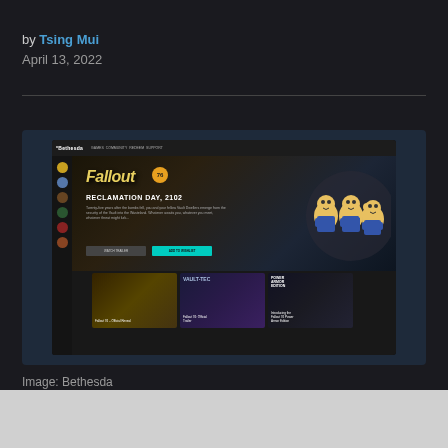by Tsing Mui
April 13, 2022
[Figure (screenshot): Screenshot of the Bethesda launcher showing the Fallout 76 game page with Vault Boys characters, Reclamation Day 2102 text, and three video thumbnails below including Fallout 76 Official Reveal and Fallout 76 Power Armor Edition]
Image: Bethesda